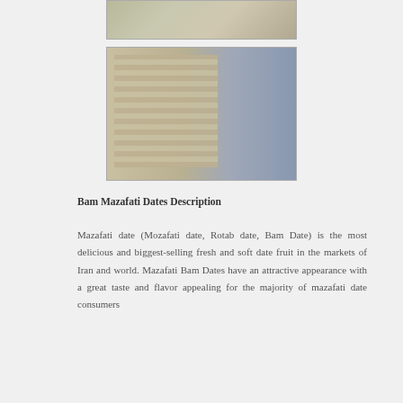[Figure (photo): Top partial view of stacked packaged date boxes in a shipping container]
[Figure (photo): Shipping container loaded with stacked boxes of Mazafati dates, showing the interior of the container with boxes piled high]
Bam Mazafati Dates Description
Mazafati date (Mozafati date, Rotab date, Bam Date) is the most delicious and biggest-selling fresh and soft date fruit in the markets of Iran and world. Mazafati Bam Dates have an attractive appearance with a great taste and flavor appealing for the majority of mazafati date consumers